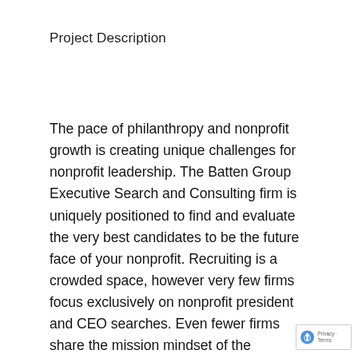Project Description
The pace of philanthropy and nonprofit growth is creating unique challenges for nonprofit leadership. The Batten Group Executive Search and Consulting firm is uniquely positioned to find and evaluate the very best candidates to be the future face of your nonprofit. Recruiting is a crowded space, however very few firms focus exclusively on nonprofit president and CEO searches. Even fewer firms share the mission mindset of the nonprofits they are serving. Throughout the search process for the next top nonprofit executive, TBG updates the search committee and or Board of Directors regularly. The Batten Group is founded and managed by a former